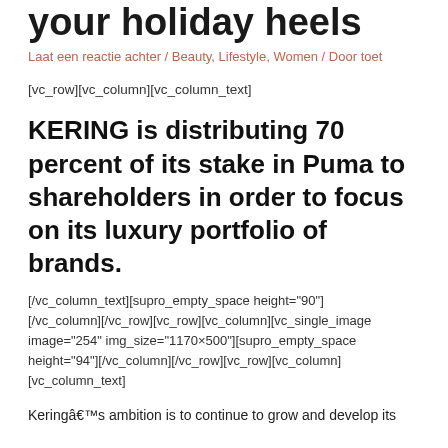your holiday heels
Laat een reactie achter / Beauty, Lifestyle, Women / Door toet
[vc_row][vc_column][vc_column_text]
KERING is distributing 70 percent of its stake in Puma to shareholders in order to focus on its luxury portfolio of brands.
[/vc_column_text][supro_empty_space height="90"][/vc_column][/vc_row][vc_row][vc_column][vc_single_image image="254" img_size="1170×500"][supro_empty_space height="94"][/vc_column][/vc_row][vc_row][vc_column][vc_column_text]
Keringâ€™s ambition is to continue to grow and develop its